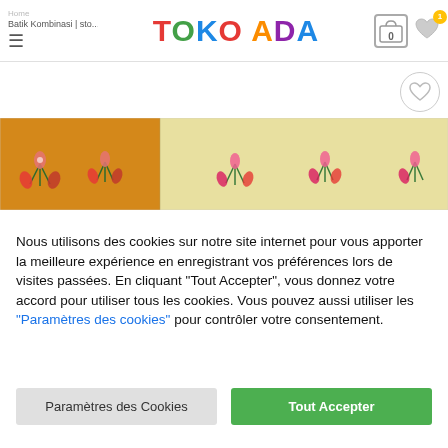TOKO ADA
Batik Kombinasi | sto...Bond...
[Figure (photo): Batik fabric photo showing two-tone combination: orange/golden left half and light yellow right half, both with pink and red floral patterns on green stems.]
Nous utilisons des cookies sur notre site internet pour vous apporter la meilleure expérience en enregistrant vos préférences lors de visites passées. En cliquant "Tout Accepter", vous donnez votre accord pour utiliser tous les cookies. Vous pouvez aussi utiliser les "Paramètres des cookies" pour contrôler votre consentement.
Paramètres des Cookies
Tout Accepter